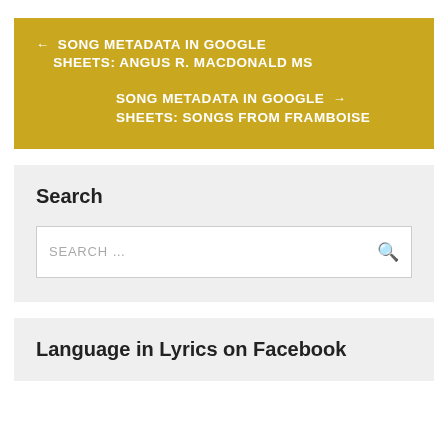← SONG METADATA IN GOOGLE SHEETS: ANGUS R. MACDONALD MS
SONG METADATA IN GOOGLE SHEETS: SONGS FROM FRAMBOISE →
Search
SEARCH …
Language in Lyrics on Facebook